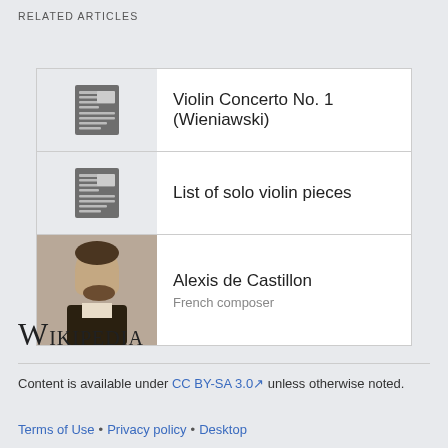RELATED ARTICLES
Violin Concerto No. 1 (Wieniawski)
List of solo violin pieces
Alexis de Castillon
French composer
[Figure (logo): Wikipedia logo with text 'Wikipedia' in small-caps serif font]
Content is available under CC BY-SA 3.0 unless otherwise noted.
Terms of Use • Privacy policy • Desktop